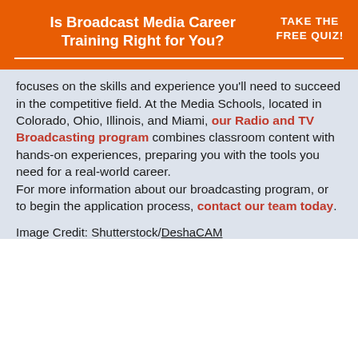Is Broadcast Media Career Training Right for You?
TAKE THE FREE QUIZ!
focuses on the skills and experience you'll need to succeed in the competitive field. At the Media Schools, located in Colorado, Ohio, Illinois, and Miami, our Radio and TV Broadcasting program combines classroom content with hands-on experiences, preparing you with the tools you need for a real-world career. For more information about our broadcasting program, or to begin the application process, contact our team today.
Image Credit: Shutterstock/DeshaCAM